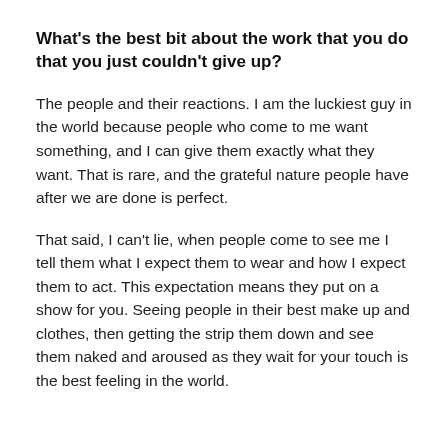What's the best bit about the work that you do that you just couldn't give up?
The people and their reactions. I am the luckiest guy in the world because people who come to me want something, and I can give them exactly what they want. That is rare, and the grateful nature people have after we are done is perfect.
That said, I can't lie, when people come to see me I tell them what I expect them to wear and how I expect them to act. This expectation means they put on a show for you. Seeing people in their best make up and clothes, then getting the strip them down and see them naked and aroused as they wait for your touch is the best feeling in the world.